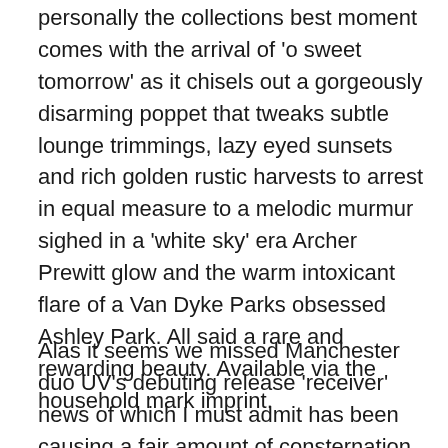personally the collections best moment comes with the arrival of 'o sweet tomorrow' as it chisels out a gorgeously disarming poppet that tweaks subtle lounge trimmings, lazy eyed sunsets and rich golden rustic harvests to arrest in equal measure to a melodic murmur sighed in a 'white sky' era Archer Prewitt glow and the warm intoxicant flare of a Van Dyke Parks obsessed Ashley Park. All said a rare and rewarding beauty. Available via the household mark imprint.
Alas it seems we missed Manchester duo UV's debuting release 'receiver' news of which I must admit has been causing a fair amount of consternation and much grumbling here not least since having sampled the delights of their forthcoming outing 'Cuts'. due for limited engagement on RSD14 wherein both tracks will come bundled up on a cassette. the release is being prepped as